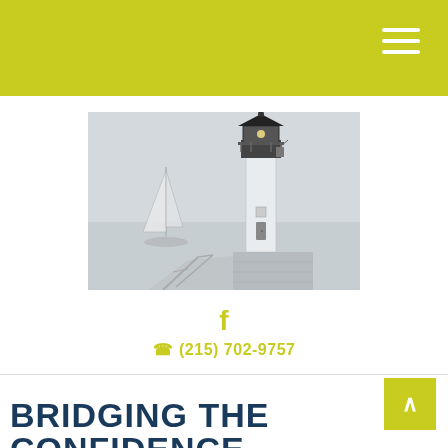Navigation header bar with hamburger menu
[Figure (photo): A misty coastal scene featuring a black and white lighthouse with a walkway in the foreground and a sailboat barely visible in the fog behind it.]
f
(215) 702-9757
BRIDGING THE CONFIDENCE